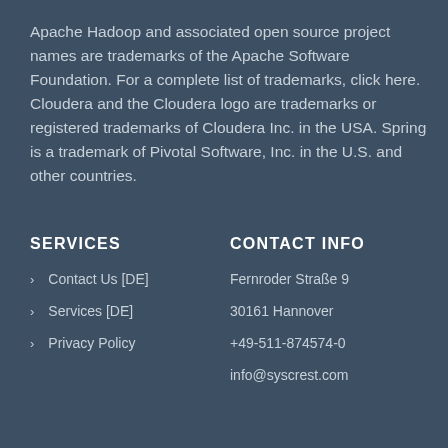Apache Hadoop and associated open source project names are trademarks of the Apache Software Foundation. For a complete list of trademarks, click here. Cloudera and the Cloudera logo are trademarks or registered trademarks of Cloudera Inc. in the USA. Spring is a trademark of Pivotal Software, Inc. in the U.S. and other countries.
SERVICES
CONTACT INFO
Contact Us [DE]
Services [DE]
Privacy Policy
Fernroder Straße 9
30161 Hannover
+49-511-874574-0
info@syscrest.com